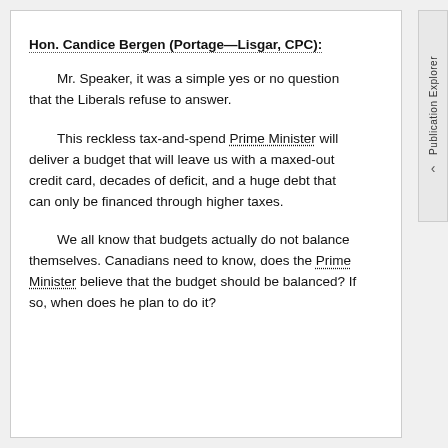Hon. Candice Bergen (Portage—Lisgar, CPC):
Mr. Speaker, it was a simple yes or no question that the Liberals refuse to answer.
This reckless tax-and-spend Prime Minister will deliver a budget that will leave us with a maxed-out credit card, decades of deficit, and a huge debt that can only be financed through higher taxes.
We all know that budgets actually do not balance themselves. Canadians need to know, does the Prime Minister believe that the budget should be balanced? If so, when does he plan to do it?